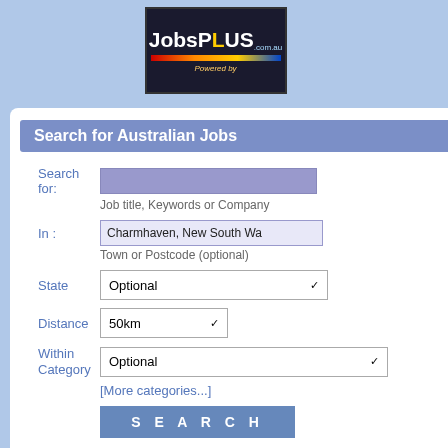[Figure (logo): JobsPlus.com.au logo with colored stripe and Powered by text]
Search for Australian Jobs
Search for:
Job title, Keywords or Company
In :
Charmhaven, New South Wa
Town or Postcode (optional)
State
Optional
Distance
50km
Within Category
Optional
[More categories...]
S E A R C H
Sponsored Links
JobsPLUS... listing A Australian Jobs Boa
JobsPLUS is proudly bro Come On Aussie Internet a
You
Page
| Date |  |
| --- | --- |